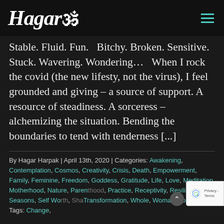Hagarom
Stable. Fluid. Fun.   Bitchy. Broken. Sensitive. Stuck. Wavering. Wondering...   When I rock the covid (the new lifesty, not the virus), I feel grounded and giving – a source of support. A resource of steadiness. A sorceress – alchemizing the situation. Bending the boundaries to tend with tenderness [...]
By Hagar Harpak | April 13th, 2020 | Categories: Awakening, Contemplation, Cosmos, Creativity, Crisis, Death, Empowerment, Family, Feminine, Freedom, Goddess, Gratitude, Life, Love, Meditation, Motherhood, Nature, Parenthood, Practice, Receptivity, Resilience, Seasons, Self Worth, Shame, Transformation, Whole, Womanhood, Yoga | Tags: Change,